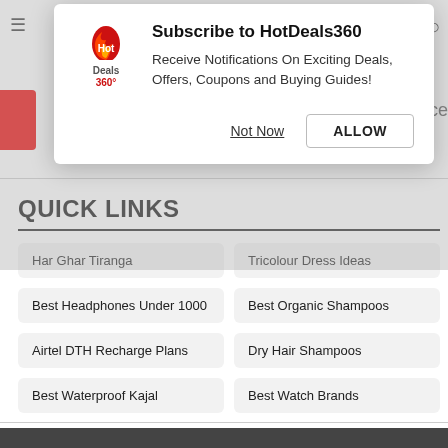[Figure (screenshot): HotDeals360 push notification subscription modal dialog with logo, title, description text, and two buttons: 'Not Now' and 'ALLOW']
QUICK LINKS
Har Ghar Tiranga
Tricolour Dress Ideas
Best Headphones Under 1000
Best Organic Shampoos
Airtel DTH Recharge Plans
Dry Hair Shampoos
Best Waterproof Kajal
Best Watch Brands